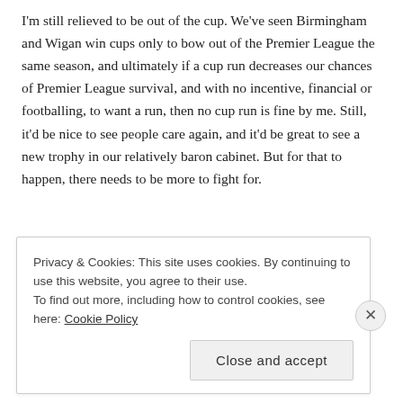I'm still relieved to be out of the cup. We've seen Birmingham and Wigan win cups only to bow out of the Premier League the same season, and ultimately if a cup run decreases our chances of Premier League survival, and with no incentive, financial or footballing, to want a run, then no cup run is fine by me. Still, it'd be nice to see people care again, and it'd be great to see a new trophy in our relatively baron cabinet. But for that to happen, there needs to be more to fight for.
Privacy & Cookies: This site uses cookies. By continuing to use this website, you agree to their use.
To find out more, including how to control cookies, see here: Cookie Policy
Close and accept